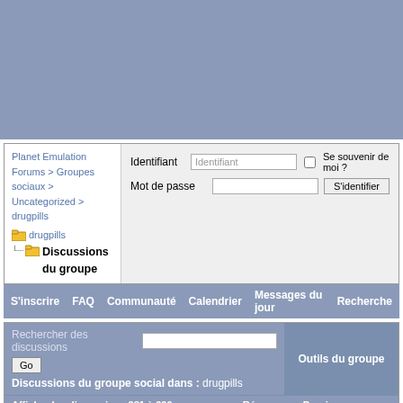[Figure (screenshot): Blue-grey banner/header area at the top of the webpage]
Planet Emulation Forums > Groupes sociaux > Uncategorized > drugpills
Discussions du groupe
Identifiant | [text field] | Se souvenir de moi ?
Mot de passe | [password field] | S'identifier
S'inscrire   FAQ   Communauté   Calendrier   Messages du jour   Recherche
Rechercher des discussions [text field] Go
Discussions du groupe social dans : drugpills
Outils du groupe
| Afficher les discussions 981 à 990 sur 1668  Créée | Réponses | Dernier message |
| --- | --- | --- |
| Buy norpramin online! online norpramin pharmacy
par saraknite
26/07/2017 03h57
BUY norpramin online, BUY norpramin ONLINE NO... | 2 | 26/07/2017 03h58
par saraknite |